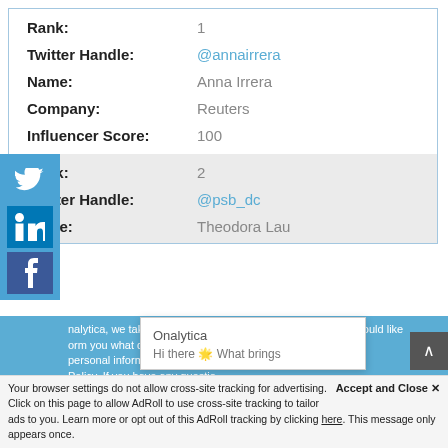| Rank: | 1 |
| Twitter Handle: | @annairrera |
| Name: | Anna Irrera |
| Company: | Reuters |
| Influencer Score: | 100 |
| Rank: | 2 |
| Twitter Handle: | @psb_dc |
| Name: | Theodora Lau |
nalytica, we take your privacy very seriously. Therefore we would like form you what data we collect, th personal information. To learn ie Policy. If you have any questio
Onalytica
Hi there 🌟 What brings
Accept and Close ✕
Your browser settings do not allow cross-site tracking for advertising. Click on this page to allow AdRoll to use cross-site tracking to tailor ads to you. Learn more or opt out of this AdRoll tracking by clicking here. This message only appears once.